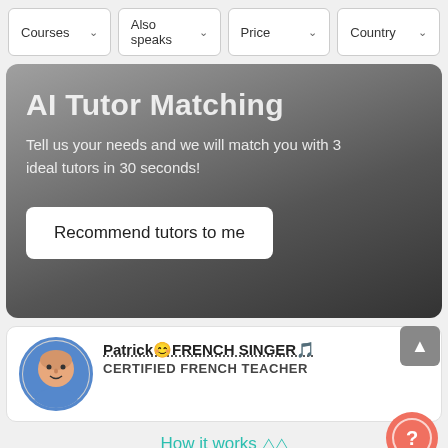Courses  Also speaks  Price  Country
AI Tutor Matching
Tell us your needs and we will match you with 3 ideal tutors in 30 seconds!
Recommend tutors to me
Patrick😊FRENCH SINGER🎵
CERTIFIED FRENCH TEACHER
How it works  ❯❯